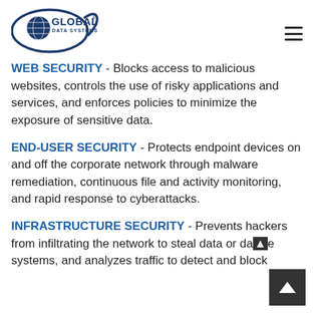Global Data Systems logo and navigation menu
WEB SECURITY - Blocks access to malicious websites, controls the use of risky applications and services, and enforces policies to minimize the exposure of sensitive data.
END-USER SECURITY - Protects endpoint devices on and off the corporate network through malware remediation, continuous file and activity monitoring, and rapid response to cyberattacks.
INFRASTRUCTURE SECURITY - Prevents hackers from infiltrating the network to steal data or damage systems, and analyzes traffic to detect and block